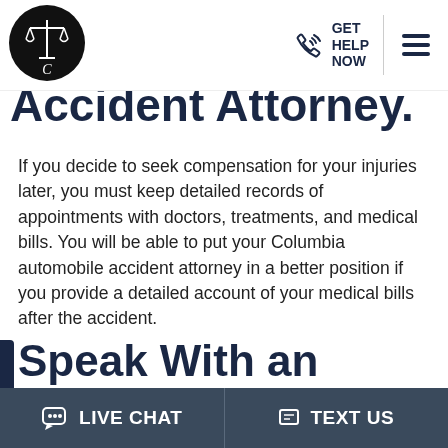[Figure (logo): Circular black logo with scales of justice and letter C]
GET HELP NOW
Accident Attorney.
If you decide to seek compensation for your injuries later, you must keep detailed records of appointments with doctors, treatments, and medical bills. You will be able to put your Columbia automobile accident attorney in a better position if you provide a detailed account of your medical bills after the accident.
Speak With an Experienced
LIVE CHAT   TEXT US